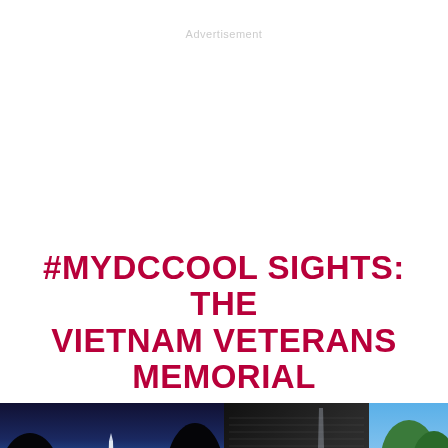Advertisement
#MYDCCOOL SIGHTS: THE VIETNAM VETERANS MEMORIAL
[Figure (photo): Two side-by-side photos: left shows the Washington Monument reflected in water at dusk/twilight with dark tree silhouettes; right shows visitors at the Vietnam Veterans Memorial Wall with the Washington Monument visible in the reflection, trees and grass in background. Caption reads: By @elalvarortiz]
By @elalvarortiz